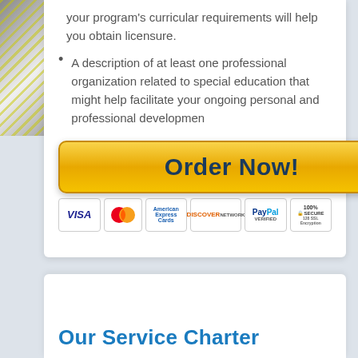your program’s curricular requirements will help you obtain licensure.
A description of at least one professional organization related to special education that might help facilitate your ongoing personal and professional developmen
[Figure (other): Order Now! button with yellow gradient styling and mouse cursor icon, followed by payment method icons: VISA, MasterCard, American Express, Discover, PayPal, and 100% Secure SSL Encryption badge]
Our Service Charter